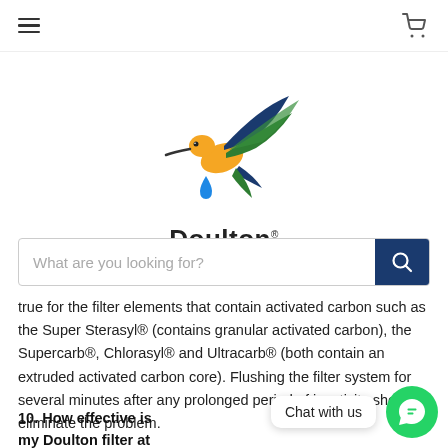Navigation bar with hamburger menu and cart icon
[Figure (logo): Doulton hummingbird logo with water drop, text 'Doulton. we are water']
true for the filter elements that contain activated carbon such as the Super Sterasyl® (contains granular activated carbon), the Supercarb®, Chlorasyl® and Ultracarb® (both contain an extruded activated carbon core). Flushing the filter system for several minutes after any prolonged period of inactivity should eliminate the problem.
10. How effective is my Doulton filter at removing chloramine?